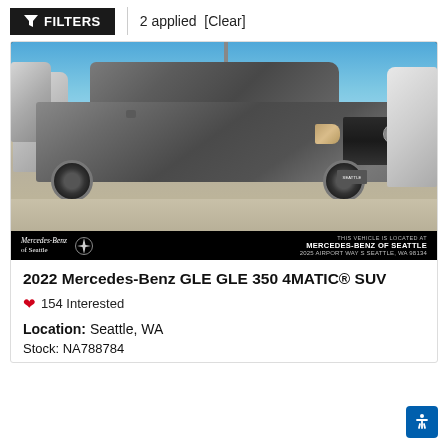FILTERS | 2 applied [Clear]
[Figure (photo): 2022 Mercedes-Benz GLE GLE 350 4MATIC SUV in grey/silver color photographed at a dealership lot with blue sky background. Dealer overlay bar at bottom reads: Mercedes-Benz of Seattle | THIS VEHICLE IS LOCATED AT MERCEDES-BENZ OF SEATTLE 2025 AIRPORT WAY S SEATTLE, WA 98134]
2022 Mercedes-Benz GLE GLE 350 4MATIC® SUV
❤ 154 Interested
Location: Seattle, WA
Stock: NA788784